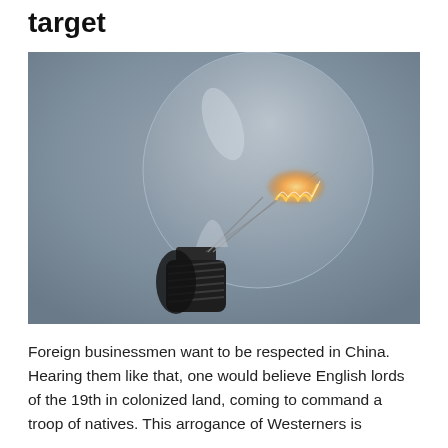target
[Figure (photo): Close-up photograph of a clear incandescent light bulb against a grey background. The bulb is tilted slightly, showing the dark threaded base on the lower left and the glowing filament visible inside the glass envelope.]
Foreign businessmen want to be respected in China. Hearing them like that, one would believe English lords of the 19th in colonized land, coming to command a troop of natives. This arrogance of Westerners is